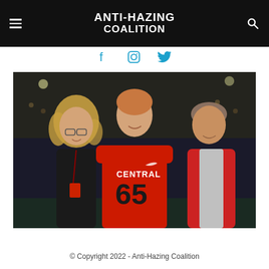ANTI-HAZING COALITION
[Figure (photo): A young man wearing a red football jersey numbered 65 labeled CENTRAL, flanked by a woman with curly blonde hair on the left and an older man on the right, posing together on a football field at night.]
© Copyright 2022 - Anti-Hazing Coalition